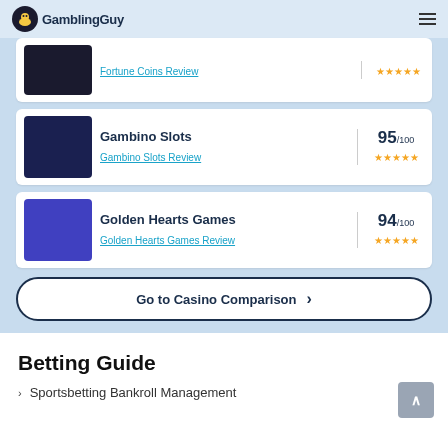GamblingGuy
[Figure (other): Fortune Coins partial casino row showing review link and 5-star rating]
Gambino Slots
Gambino Slots Review
95/100 ★★★★★
Golden Hearts Games
Golden Hearts Games Review
94/100 ★★★★★
Go to Casino Comparison >
Betting Guide
Sportsbetting Bankroll Management